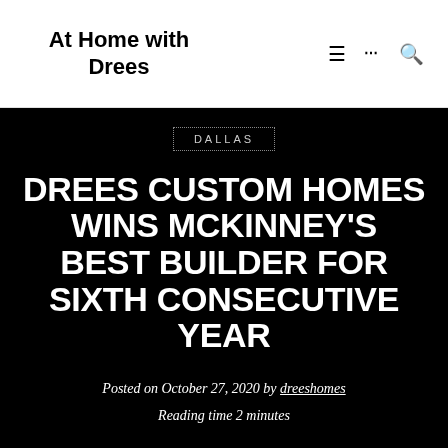At Home with Drees
DALLAS
DREES CUSTOM HOMES WINS MCKINNEY'S BEST BUILDER FOR SIXTH CONSECUTIVE YEAR
Posted on October 27, 2020 by dreeshomes
Reading time 2 minutes